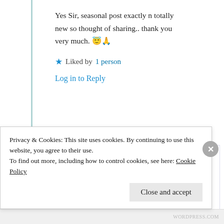Yes Sir, seasonal post exactly n totally new so thought of sharing.. thank you very much. 😇🙏
★ Liked by 1 person
Log in to Reply
[Figure (photo): Circular avatar photo of user KK, showing a man with sunglasses]
KK
10th Jun 2021 at...
Privacy & Cookies: This site uses cookies. By continuing to use this website, you agree to their use.
To find out more, including how to control cookies, see here: Cookie Policy
Close and accept